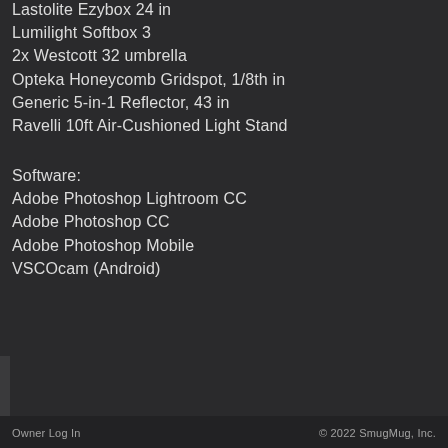Lastolite Ezybox 24 in
Lumilight Softbox 3
2x Westcott 32 umbrella
Opteka Honeycomb Gridspot, 1/8th in
Generic 5-in-1 Reflector, 43 in
Ravelli 10ft Air-Cushioned Light Stand
Software:
Adobe Photoshop Lightroom CC
Adobe Photoshop CC
Adobe Photoshop Mobile
VSCOcam (Android)
Owner Log In   © 2022 SmugMug, Inc.